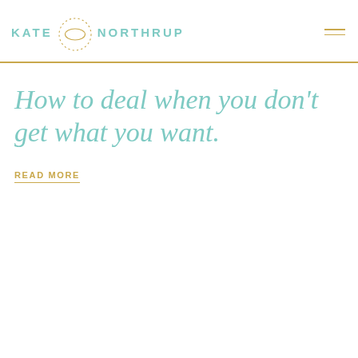[Figure (logo): Kate Northrup logo with teal text and circular dotted icon]
How to deal when you don't get what you want.
READ MORE